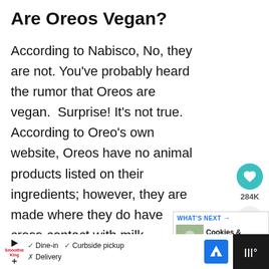Are Oreos Vegan?
According to Nabisco, No, they are not. You've probably heard the rumor that Oreos are vegan.  Surprise! It's not true. According to Oreo's own website, Oreos have no animal products listed on their ingredients; however, they are made where they do have cross-contact with milk.
[Figure (screenshot): Social media like button (heart icon, teal circle) with count 284K and a share button below]
[Figure (screenshot): What's Next panel with text 'Cookies & Cream...' and thumbnail image]
[Figure (photo): Partial photo strip showing hands holding a heart-shaped cookie on green background]
[Figure (screenshot): Advertisement bar for Smoothie King with dine-in, curbside pickup, delivery info and map navigation button]